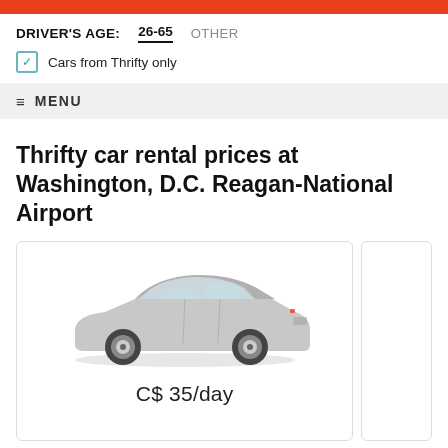orange bar
DRIVER'S AGE: 26-65 OTHER
Cars from Thrifty only
≡ MENU
Thrifty car rental prices at Washington, D.C. Reagan-National Airport
[Figure (photo): Silver sedan car (Thrifty rental) shown from front-left angle]
C$ 35/day